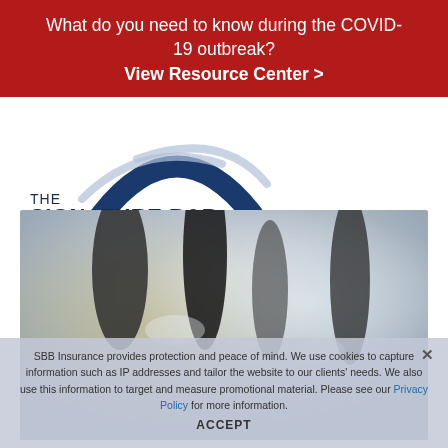What do you need to know during the COVID-19 outbreak? View Resource Center >
[Figure (logo): The Signature B&B Companies logo with Acrisure Agency Partner badge]
[Figure (photo): Blurred close-up photo of dark microphone or pen tops on a light background]
SBB Insurance provides protection and peace of mind. We use cookies to capture information such as IP addresses and tailor the website to our clients' needs. We also use this information to target and measure promotional material. Please see our Privacy Policy for more information.
ACCEPT